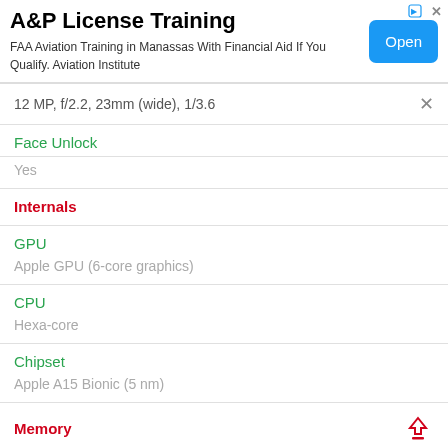[Figure (other): Advertisement banner for A&P License Training with Open button]
12 MP, f/2.2, 23mm (wide), 1/3.6
Face Unlock
Yes
Internals
GPU
Apple GPU (6-core graphics)
CPU
Hexa-core
Chipset
Apple A15 Bionic (5 nm)
Memory
RAM